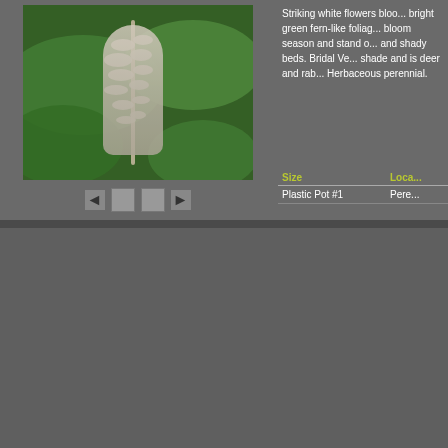[Figure (photo): Close-up photo of white astilbe flowers with bright green fern-like foliage in background, with navigation arrows and dots below]
Striking white flowers bloom above bright green fern-like foliage during bloom season and stand out in sunny and shady beds. Bridal Veil tolerates shade and is deer and rabbit resistant. Herbaceous perennial.
| Size | Loca... |
| --- | --- |
| Plastic Pot #1 | Pere... |
[Figure (photo): Photo of Astilbe Fanal plants with deep red/pink feathery flower spikes in a nursery greenhouse setting]
Astilbe 'Fanal'
False Spiraea - deep red
Fernlike foliage emerges a rich red in spring and turns a rich green. Flower spikes. Blooms early summ...